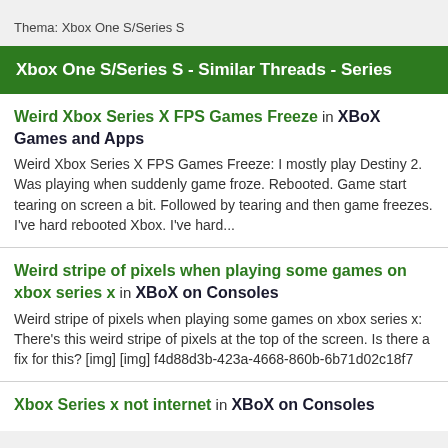Thema: Xbox One S/Series S
Xbox One S/Series S - Similar Threads - Series
Weird Xbox Series X FPS Games Freeze in XBoX Games and Apps
Weird Xbox Series X FPS Games Freeze: I mostly play Destiny 2. Was playing when suddenly game froze. Rebooted. Game start tearing on screen a bit. Followed by tearing and then game freezes. I've hard rebooted Xbox. I've hard...
Weird stripe of pixels when playing some games on xbox series x in XBoX on Consoles
Weird stripe of pixels when playing some games on xbox series x: There's this weird stripe of pixels at the top of the screen. Is there a fix for this? [img] [img] f4d88d3b-423a-4668-860b-6b71d02c18f7
Xbox Series x not internet in XBoX on Consoles